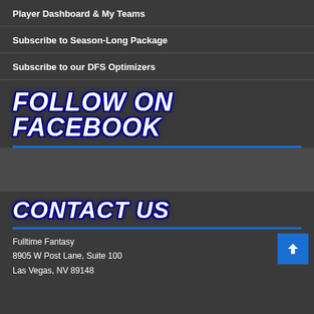Player Dashboard & My Teams
Subscribe to Season-Long Package
Subscribe to our DFS Optimizers
FOLLOW ON FACEBOOK
[Figure (other): Facebook embed placeholder box]
CONTACT US
Fulltime Fantasy
8905 W Post Lane, Suite 100
Las Vegas, NV 89148